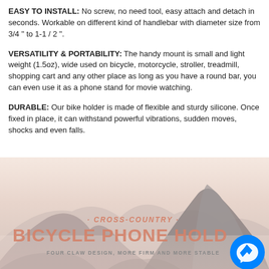EASY TO INSTALL: No screw, no need tool, easy attach and detach in seconds. Workable on different kind of handlebar with diameter size from 3/4 " to 1-1 / 2 ".
VERSATILITY & PORTABILITY: The handy mount is small and light weight (1.5oz), wide used on bicycle, motorcycle, stroller, treadmill, shopping cart and any other place as long as you have a round bar, you can even use it as a phone stand for movie watching.
DURABLE: Our bike holder is made of flexible and sturdy silicone. Once fixed in place, it can withstand powerful vibrations, sudden moves, shocks and even falls.
[Figure (illustration): Mountain landscape background with text overlay. Text reads: '· CROSS-COUNTRY ·' in italic coral/pink color, 'BICYCLE PHONE HOLDER' in large bold pink/coral text, 'FOUR CLAW DESIGN, MORE FIRM AND MORE STABLE' in small grey uppercase text. A blue Facebook Messenger button is in the bottom right corner.]